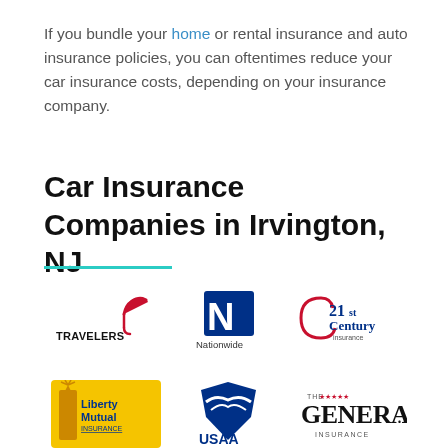If you bundle your home or rental insurance and auto insurance policies, you can oftentimes reduce your car insurance costs, depending on your insurance company.
Car Insurance Companies in Irvington, NJ
[Figure (logo): Travelers insurance logo]
[Figure (logo): Nationwide insurance logo]
[Figure (logo): 21st Century Insurance logo]
[Figure (logo): Liberty Mutual Insurance logo]
[Figure (logo): USAA logo]
[Figure (logo): The General Insurance logo]